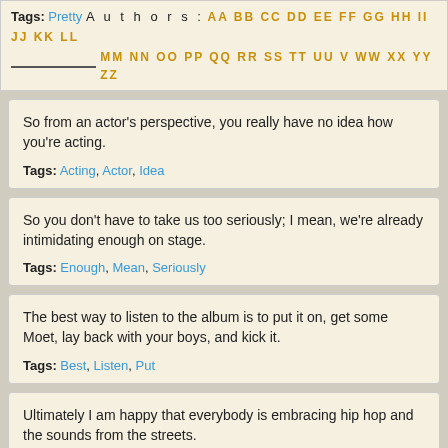Tags: Pretty Authors: AA BB CC DD EE FF GG HH II JJ KK LL MM NN OO PP QQ RR SS TT UU V WW XX YY ZZ
So from an actor's perspective, you really have no idea how you're acting.
Tags: Acting, Actor, Idea
So you don't have to take us too seriously; I mean, we're already intimidating enough on stage.
Tags: Enough, Mean, Seriously
The best way to listen to the album is to put it on, get some Moet, lay back with your boys, and kick it.
Tags: Best, Listen, Put
Ultimately I am happy that everybody is embracing hip hop and the sounds from the streets.
Tags: Everybody, Happy, Sounds